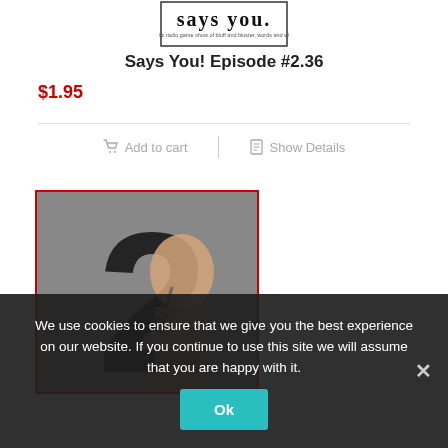[Figure (logo): Says You! radio show logo - 'says you.' text with tagline 'a public radio game show of bluff and bluster, words and whimsy']
Says You! Episode #2.36
$1.95
Add to cart
Show Details
[Figure (photo): Album cover for Season 2 showing a large numeral '2' with a person speaking into a microphone in the background]
We use cookies to ensure that we give you the best experience on our website. If you continue to use this site we will assume that you are happy with it.
Ok